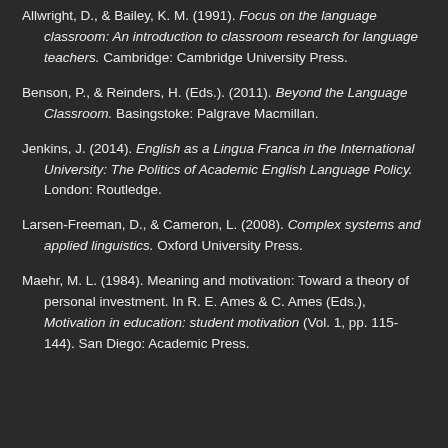Allwright, D., & Bailey, K. M. (1991). Focus on the language classroom: An introduction to classroom research for language teachers. Cambridge: Cambridge University Press.
Benson, P., & Reinders, H. (Eds.). (2011). Beyond the Language Classroom. Basingstoke: Palgrave Macmillan.
Jenkins, J. (2014). English as a Lingua Franca in the International University: The Politics of Academic English Language Policy. London: Routledge.
Larsen-Freeman, D., & Cameron, L. (2008). Complex systems and applied linguistics. Oxford University Press.
Maehr, M. L. (1984). Meaning and motivation: Toward a theory of personal investment. In R. E. Ames & C. Ames (Eds.), Motivation in education: student motivation (Vol. 1, pp. 115-144). San Diego: Academic Press.